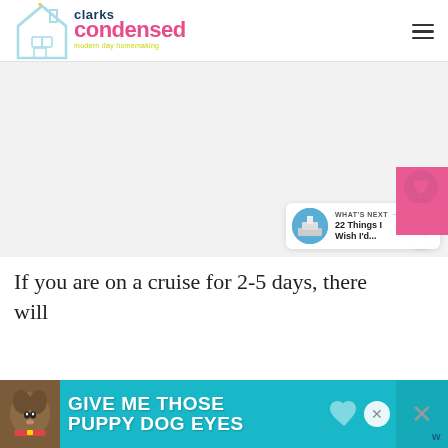[Figure (logo): Clarks Condensed logo with house illustration, pink and navy text]
[Figure (photo): Large white/light grey image placeholder area (main article image)]
[Figure (infographic): What's Next panel showing cruise ship thumbnail and text '22 Things I Wish I'd...']
If you are on a cruise for 2-5 days, there will
[Figure (photo): Advertisement banner: Give Me Those Puppy Dog Eyes with dog image, teal background]